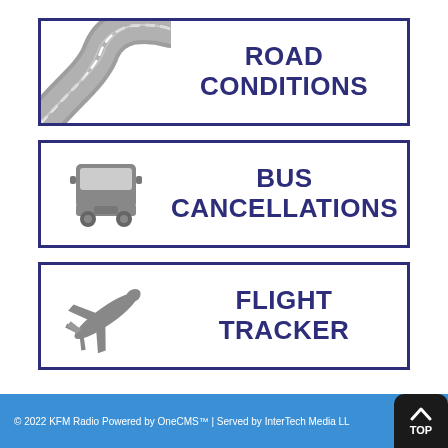[Figure (infographic): Card with winding road illustration and text ROAD CONDITIONS]
[Figure (infographic): Card with bus icon and text BUS CANCELLATIONS]
[Figure (infographic): Card with airplane icon and text FLIGHT TRACKER]
© 2022 KFM Radio Powered by OneCMS™ | Served by InterTech Media LL